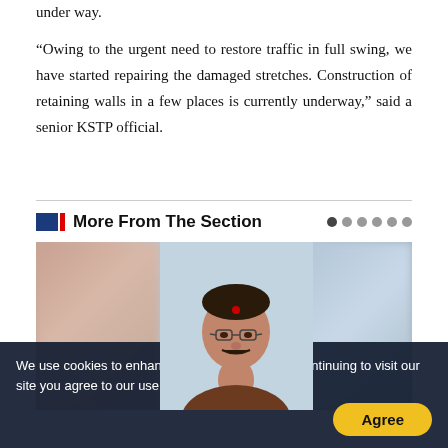under way.
“Owing to the urgent need to restore traffic in full swing, we have started repairing the damaged stretches. Construction of retaining walls in a few places is currently underway,” said a senior KSTP official.
More From The Section
[Figure (photo): Portrait photo of a middle-aged man with glasses, a red bindi, and a moustache, wearing a traditional/formal outfit. The image is part of a carousel with blurred images on the left and right sides.]
We use cookies to enhance your experience. By continuing to visit our site you agree to our use of cookies. More info
Agree